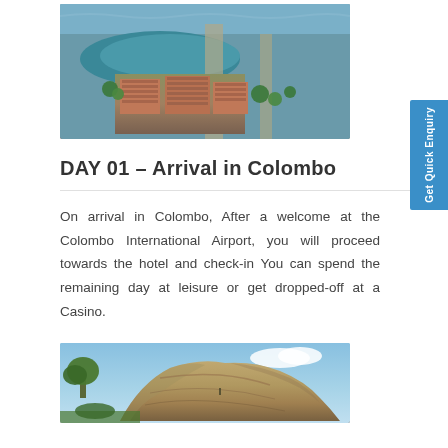[Figure (photo): Aerial view of Colombo city showing buildings with terracotta roofs, a lagoon or canal, roads, and the Indian Ocean coastline in the background]
DAY 01 – Arrival in Colombo
On arrival in Colombo, After a welcome at the Colombo International Airport, you will proceed towards the hotel and check-in You can spend the remaining day at leisure or get dropped-off at a Casino.
[Figure (photo): Rock fortress at Sigiriya (Lion Rock) in Sri Lanka, showing large granite boulders with trees and blue sky in the background]